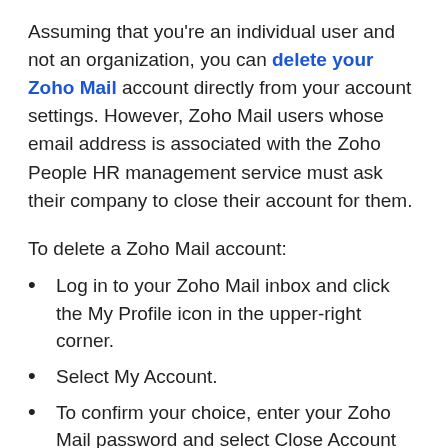Assuming that you're an individual user and not an organization, you can delete your Zoho Mail account directly from your account settings. However, Zoho Mail users whose email address is associated with the Zoho People HR management service must ask their company to close their account for them.
To delete a Zoho Mail account:
Log in to your Zoho Mail inbox and click the My Profile icon in the upper-right corner.
Select My Account.
To confirm your choice, enter your Zoho Mail password and select Close Account again.
Finally, click OK to confirm.
Additional Steps For Two